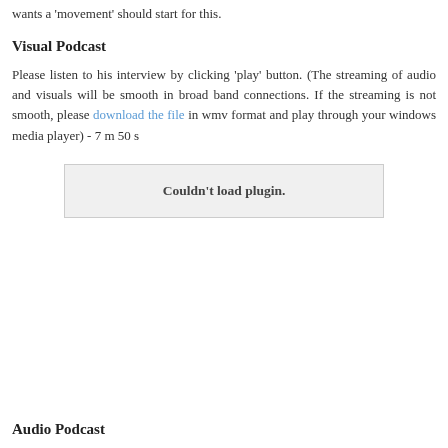wants a 'movement' should start for this.
Visual Podcast
Please listen to his interview by clicking 'play' button. (The streaming of audio and visuals will be smooth in broad band connections. If the streaming is not smooth, please download the file in wmv format and play through your windows media player) - 7 m 50 s
[Figure (other): Plugin placeholder box showing 'Couldn't load plugin.']
Audio Podcast